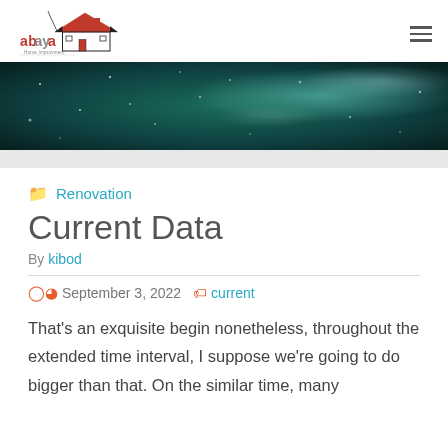abaya Home Improvment [logo with navigation hamburger]
[Figure (illustration): Dark teal/green bokeh banner image with light sparkles and glowing orbs on a dark background]
Renovation
Current Data
By kibod
September 3, 2022  current
That’s an exquisite begin nonetheless, throughout the extended time interval, I suppose we’re going to do bigger than that. On the similar time, many